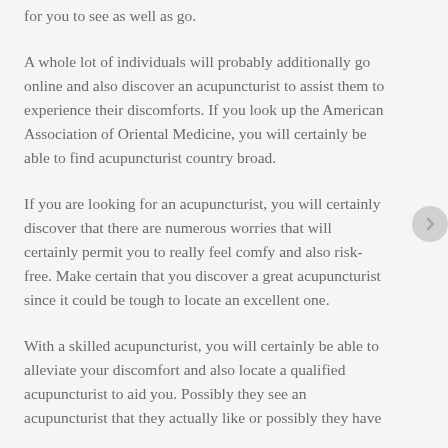for you to see as well as go.
A whole lot of individuals will probably additionally go online and also discover an acupuncturist to assist them to experience their discomforts. If you look up the American Association of Oriental Medicine, you will certainly be able to find acupuncturist country broad.
If you are looking for an acupuncturist, you will certainly discover that there are numerous worries that will certainly permit you to really feel comfy and also risk-free. Make certain that you discover a great acupuncturist since it could be tough to locate an excellent one.
With a skilled acupuncturist, you will certainly be able to alleviate your discomfort and also locate a qualified acupuncturist to aid you. Possibly they see an acupuncturist that they actually like or possibly they have